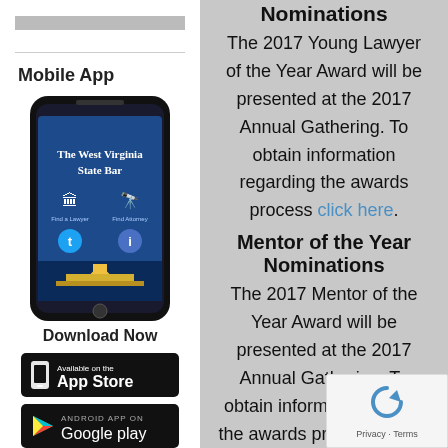[Figure (screenshot): Gray decorative bar at top of left column]
Mobile App
[Figure (photo): Smartphone showing The West Virginia State Bar mobile app screen with icons for Twitter and info, and capitol building image]
Download Now
[Figure (logo): Available on the App Store button (black background)]
[Figure (logo): Android App on Google Play button (black background)]
Nominations
The 2017 Young Lawyer of the Year Award will be presented at the 2017 Annual Gathering. To obtain information regarding the awards process click here.
Mentor of the Year Nominations
The 2017 Mentor of the Year Award will be presented at the 2017 Annual Gathering. To obtain information regard the awards process click h